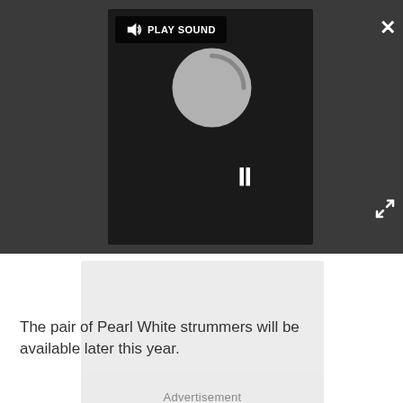[Figure (screenshot): Video player UI with dark background showing a loading spinner circle, pause button (two vertical bars), and a 'PLAY SOUND' button with speaker icon in the top-left area of the player.]
The pair of Pearl White strummers will be available later this year.
Advertisement